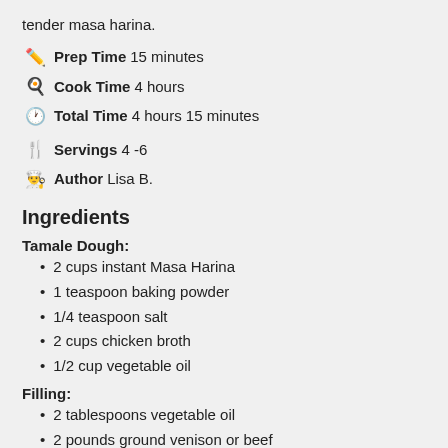tender masa harina.
Prep Time  15 minutes
Cook Time  4 hours
Total Time  4 hours 15 minutes
Servings  4 -6
Author  Lisa B.
Ingredients
Tamale Dough:
2 cups instant Masa Harina
1 teaspoon baking powder
1/4 teaspoon salt
2 cups chicken broth
1/2 cup vegetable oil
Filling:
2 tablespoons vegetable oil
2 pounds ground venison or beef
1 small onion finely chopped
3 cloves minced garlic